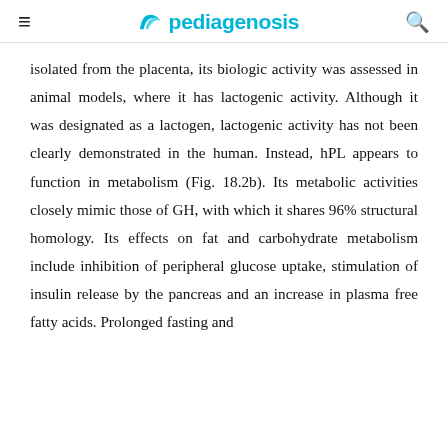pediagenosis
isolated from the placenta, its biologic activity was assessed in animal models, where it has lactogenic activity. Although it was designated as a lactogen, lactogenic activity has not been clearly demonstrated in the human. Instead, hPL appears to function in metabolism (Fig. 18.2b). Its metabolic activities closely mimic those of GH, with which it shares 96% structural homology. Its effects on fat and carbohydrate metabolism include inhibition of peripheral glucose uptake, stimulation of insulin release by the pancreas and an increase in plasma free fatty acids. Prolonged fasting and